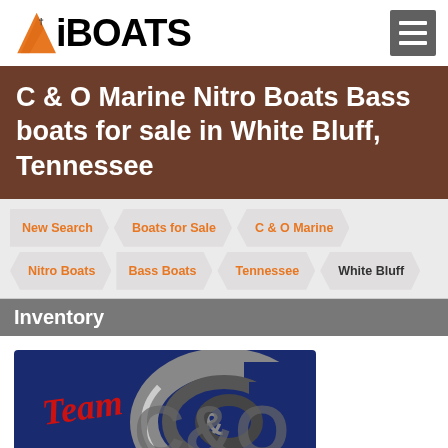[Figure (logo): iBoats logo with orange triangle sail and bold black text 'iBOATS']
[Figure (logo): Hamburger menu icon (three horizontal white lines on dark gray background)]
C & O Marine Nitro Boats Bass boats for sale in White Bluff, Tennessee
New Search
Boats for Sale
C & O Marine
Nitro Boats
Bass Boats
Tennessee
White Bluff
Inventory
[Figure (logo): Team C&O Marine dealer logo on dark blue background with stylized script lettering and 'MARINE' text at bottom]